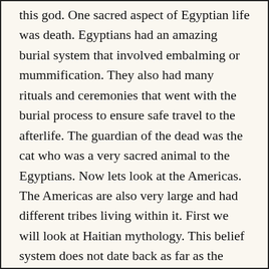this god. One sacred aspect of Egyptian life was death. Egyptians had an amazing burial system that involved embalming or mummification. They also had many rituals and ceremonies that went with the burial process to ensure safe travel to the afterlife. The guardian of the dead was the cat who was a very sacred animal to the Egyptians. Now lets look at the Americas. The Americas are also very large and had different tribes living within it. First we will look at Haitian mythology. This belief system does not date back as far as the other myths would. This is because it is a mixture of several different belief systems. It’s roots come from Africa and the voodoo practices. But it is greatly influenced by the Roman Catholic Church and the Indians that lived on the islands. In there